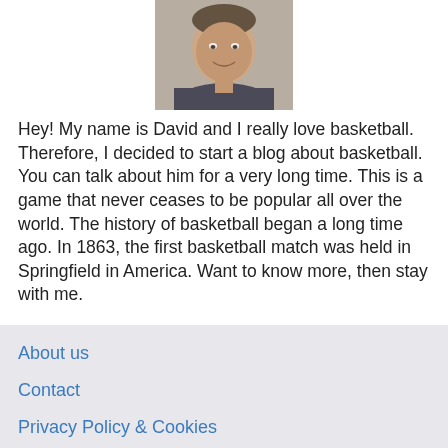[Figure (photo): Headshot photo of a middle-aged man smiling, light gray background, wearing a dark jacket.]
Hey! My name is David and I really love basketball. Therefore, I decided to start a blog about basketball. You can talk about him for a very long time. This is a game that never ceases to be popular all over the world. The history of basketball began a long time ago. In 1863, the first basketball match was held in Springfield in America. Want to know more, then stay with me.
About us
Contact
Privacy Policy & Cookies